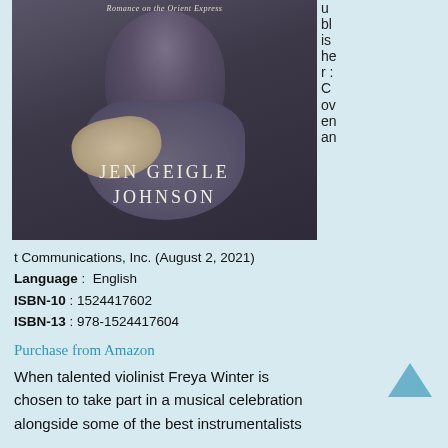[Figure (photo): Book cover of a romance novel by Jen Geigle Johnson titled 'Romance on the Orient Express', showing a person in a dark coat with gloves, seated, with the author name displayed prominently.]
u bl is he r : C ov en an t Communications, Inc. (August 2, 2021)
Language : English
ISBN-10 : 1524417602
ISBN-13 : 978-1524417604
Purchase from Amazon
When talented violinist Freya Winter is chosen to take part in a musical celebration alongside some of the best instrumentalists